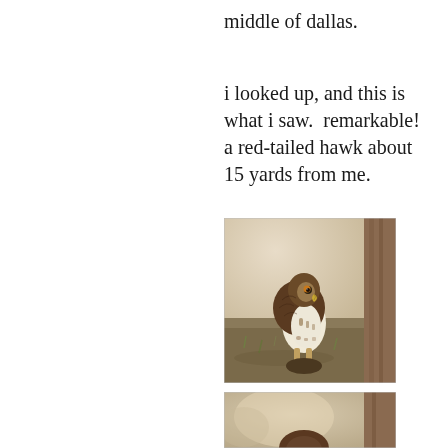middle of dallas.
i looked up, and this is what i saw. remarkable!  a red-tailed hawk about 15 yards from me.
[Figure (photo): A red-tailed hawk standing on the ground next to a tree trunk, holding prey beneath its talons. The bird faces the camera with a spotted brown and white plumage. Background is blurred with green grass and dirt.]
[Figure (photo): Partial view of a second photo of what appears to be the same or similar hawk near a tree, cropped at bottom of page.]